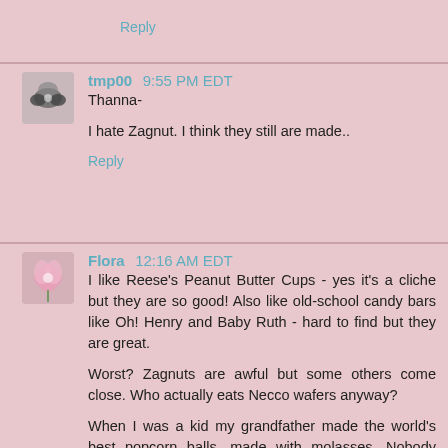Reply
[Figure (photo): Avatar thumbnail of user tmp00 — appears to show a dark flower or butterfly]
tmp00 9:55 PM EDT
Thanna-

I hate Zagnut. I think they still are made..
Reply
[Figure (photo): Avatar thumbnail of user Flora — pink flower image]
Flora 12:16 AM EDT
I like Reese's Peanut Butter Cups - yes it's a cliche but they are so good! Also like old-school candy bars like Oh! Henry and Baby Ruth - hard to find but they are great.
Worst? Zagnuts are awful but some others come close. Who actually eats Necco wafers anyway?
When I was a kid my grandfather made the world's best popcorn balls, made with molasses. Nobody does that sort of thing anymore of course, but our house was very